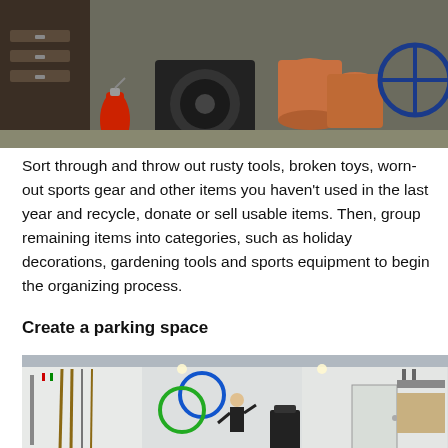[Figure (photo): Cluttered garage items including a filing cabinet, red fire extinguisher, speaker, terracotta pots, and a bicycle]
Sort through and throw out rusty tools, broken toys, worn-out sports gear and other items you haven't used in the last year and recycle, donate or sell usable items. Then, group remaining items into categories, such as holiday decorations, gardening tools and sports equipment to begin the organizing process.
Create a parking space
[Figure (photo): Organized garage with bikes, sports equipment, and tools mounted on walls, and a person working inside]